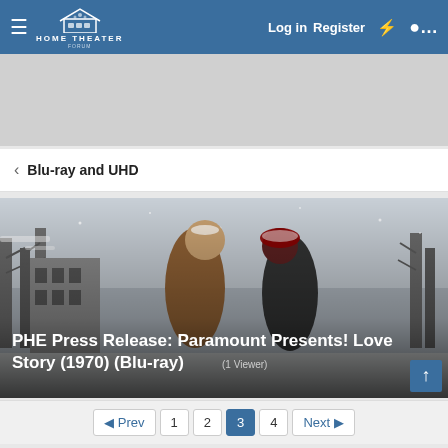HOME THEATER FORUM — Log in | Register
Blu-ray and UHD
[Figure (photo): Two people leaning toward each other about to kiss in a snowy winter scene with snow-covered trees and buildings in the background. Text overlay reads: PHE Press Release: Paramount Presents! Love Story (1970) (Blu-ray) (1 Viewer)]
PHE Press Release: Paramount Presents! Love Story (1970) (Blu-ray) (1 Viewer)
Prev | 1 | 2 | 3 | 4 | Next